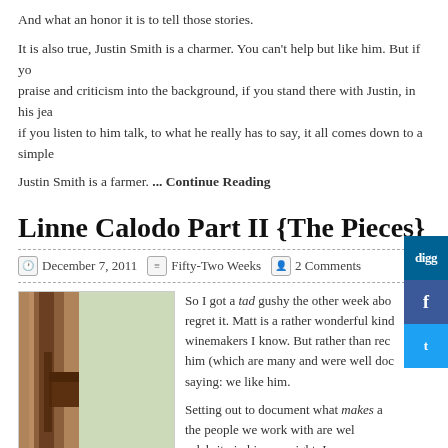And what an honor it is to tell those stories.
It is also true, Justin Smith is a charmer. You can't help but like him. But if you push the praise and criticism into the background, if you stand there with Justin, in his jeans and boots, if you listen to him talk, to what he really has to say, it all comes down to a simple
Justin Smith is a farmer. … Continue Reading
Linne Calodo Part II {The Pieces}
December 7, 2011   Fifty-Two Weeks   2 Comments
[Figure (photo): Close-up photo of a rusty metal object against a light green background]
So I got a tad gushy the other week abo... regret it. Matt is a rather wonderful kind... winemakers I know. But rather than rec... him (which are many and were well doc... saying: we like him.

Setting out to document what makes a... the people we work with are well... celebrity in his own right. In suc... history of the winery and get rig... is like crack cocaine. In other ins...
to us prior to our visit with them, like Pfendler. In this case, you must first e...
With Linne Calodo, it was a bit different. On the one hand, Linne Calodo and ev...